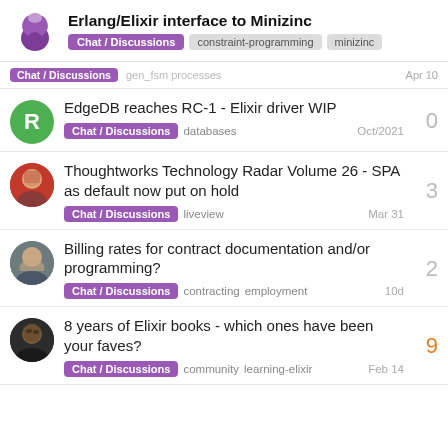Erlang/Elixir interface to Minizinc — Chat / Discussions, constraint-programming, minizinc
Chat / Discussions  gen_fsm processes  Apr 10
EdgeDB reaches RC-1 - Elixir driver WIP — Chat / Discussions, databases — Oct/2021 — 0 replies
Thoughtworks Technology Radar Volume 26 - SPA as default now put on hold — Chat / Discussions, liveview — Mar 31 — 3 replies
Billing rates for contract documentation and/or programming? — Chat / Discussions, contracting, employment — 10d — 2 replies
8 years of Elixir books - which ones have been your faves? — Chat / Discussions, community, learning-elixir — Feb 14 — 9 replies